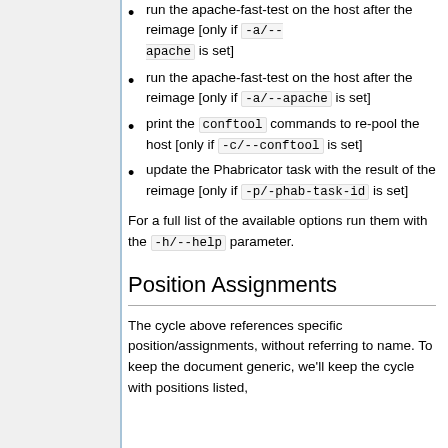run the apache-fast-test on the host after the reimage [only if -a/--apache is set]
print the conftool commands to re-pool the host [only if -c/--conftool is set]
update the Phabricator task with the result of the reimage [only if -p/-phab-task-id is set]
For a full list of the available options run them with the -h/--help parameter.
Position Assignments
The cycle above references specific position/assignments, without referring to name. To keep the document generic, we'll keep the cycle with positions listed,